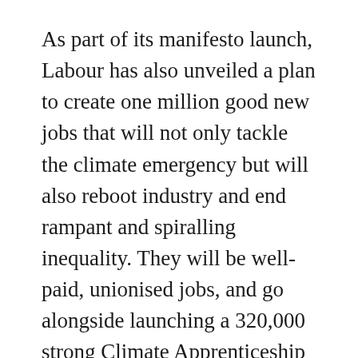As part of its manifesto launch, Labour has also unveiled a plan to create one million good new jobs that will not only tackle the climate emergency but will also reboot industry and end rampant and spiralling inequality. They will be well-paid, unionised jobs, and go alongside launching a 320,000 strong Climate Apprenticeship programme to enable employers to develop the skills needed to lead the world in clean technology.
This will not only help our planet but also bring new wealth and opportunities to the regions and nations that have been starved of investment, following first decimation under Thatcherism and the last 10 years of austerity